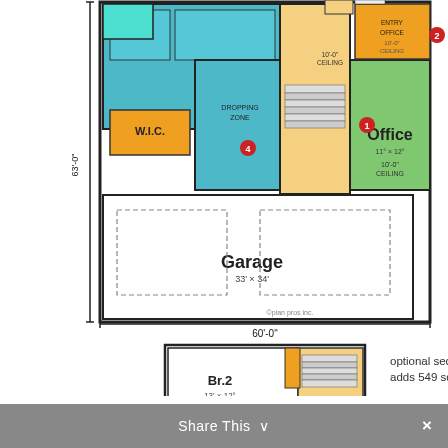[Figure (engineering-diagram): House floor plan showing first floor with Garage (33' x 34'), W.I.C., Office (11' x 12'), and colored rooms. Dimension 63'-0" on side, 60'-0" on bottom. Copyright plan pros inc. Optional second level floor plan below showing Br.2 (13' x 12'), Br.3 (12' x 12'), adds 549 sq. ft. Numbered markers 1-5. Scroll-up button bottom right.]
optional second level adds 549 sq. ft.
Share This ∨  ×
Livability